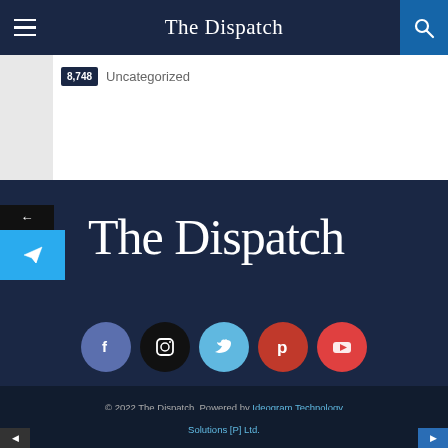The Dispatch
8,748  Uncategorized
The Dispatch
[Figure (infographic): Social media icons row: Facebook (blue circle), Instagram (black circle), Twitter (light blue circle), Pinterest (red circle), YouTube (red circle)]
© 2022 The Dispatch. Powered by Ideogram Technology Solutions [P] Ltd.